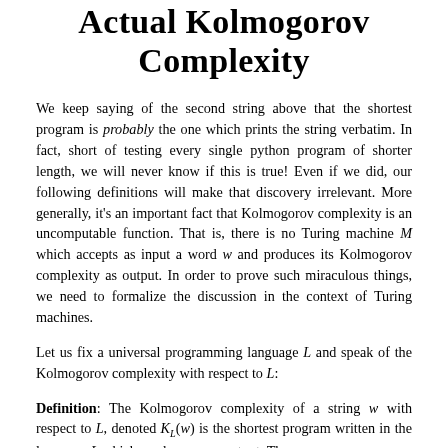Actual Kolmogorov Complexity
We keep saying of the second string above that the shortest program is probably the one which prints the string verbatim. In fact, short of testing every single python program of shorter length, we will never know if this is true! Even if we did, our following definitions will make that discovery irrelevant. More generally, it's an important fact that Kolmogorov complexity is an uncomputable function. That is, there is no Turing machine M which accepts as input a word w and produces its Kolmogorov complexity as output. In order to prove such miraculous things, we need to formalize the discussion in the context of Turing machines.
Let us fix a universal programming language L and speak of the Kolmogorov complexity with respect to L:
Definition: The Kolmogorov complexity of a string w with respect to L, denoted K_L(w) is the shortest program written in the language L which produces w as output. The ...